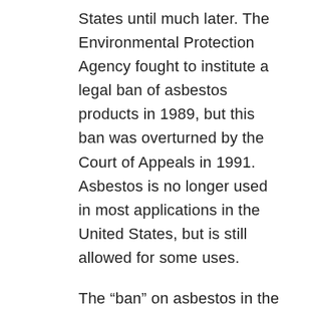States until much later. The Environmental Protection Agency fought to institute a legal ban of asbestos products in 1989, but this ban was overturned by the Court of Appeals in 1991. Asbestos is no longer used in most applications in the United States, but is still allowed for some uses.
The “ban” on asbestos in the United States means that newer homes and buildings are no longer built with asbestos materials, but many older buildings and homes still contain asbestos in insulation and other components. Unless this asbestos becomes airborne, it generally does not present much of a risk to inhabitants of these older buildings. With the recent tornados,